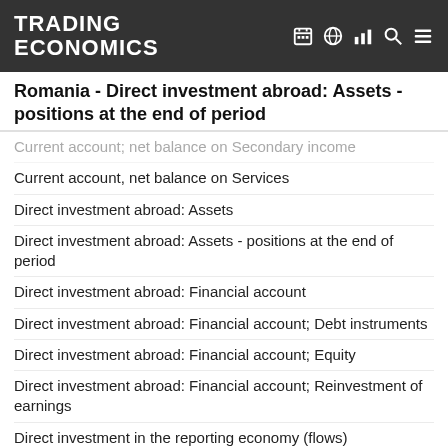TRADING ECONOMICS
Romania - Direct investment abroad: Assets - positions at the end of period
Current account; net balance on Secondary income
Current account, net balance on Services
Direct investment abroad: Assets
Direct investment abroad: Assets - positions at the end of period
Direct investment abroad: Financial account
Direct investment abroad: Financial account; Debt instruments
Direct investment abroad: Financial account; Equity
Direct investment abroad: Financial account; Reinvestment of earnings
Direct investment in the reporting economy (flows)
Direct investment in the reporting economy (stocks)
Direct investment in the reporting economy: Financial account
Direct investment in the reporting economy: Financial account; Debt instruments